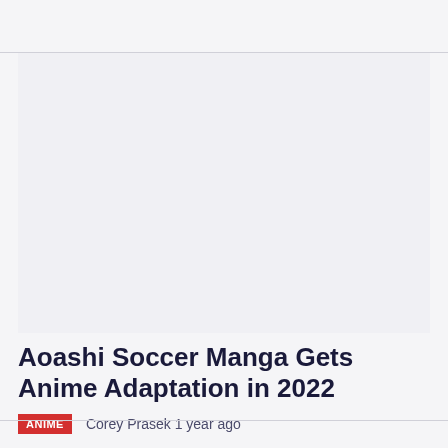[Figure (photo): Large image area placeholder (light gray background) — article header image for Aoashi Soccer Manga anime adaptation article]
Aoashi Soccer Manga Gets Anime Adaptation in 2022
ANIME   Corey Prasek 1 year ago